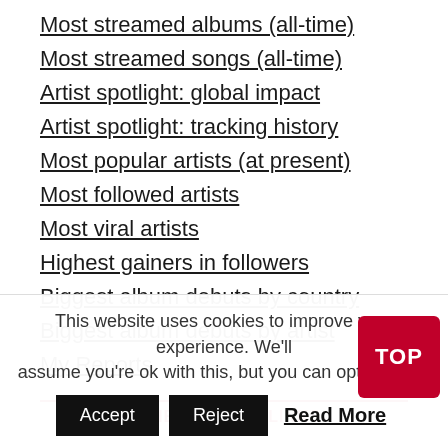Most streamed albums (all-time)
Most streamed songs (all-time)
Artist spotlight: global impact
Artist spotlight: tracking history
Most popular artists (at present)
Most followed artists
Most viral artists
Highest gainers in followers
Biggest album debuts by country
Biggest album debuts by artist
My Reports
OTHER USEFUL LINKS
This website uses cookies to improve your experience. We'll assume you're ok with this, but you can opt-out if you
Accept   Reject   Read More